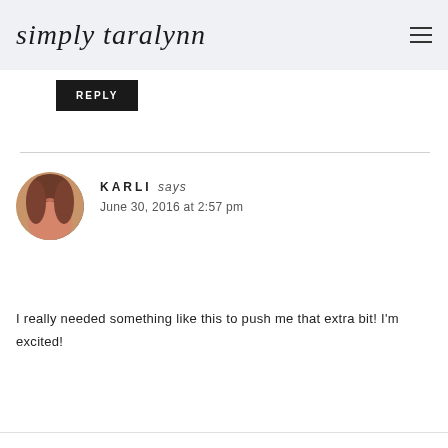simply taralynn
REPLY
KARLI says
June 30, 2016 at 2:57 pm
I really needed something like this to push me that extra bit! I'm excited!
REPLY